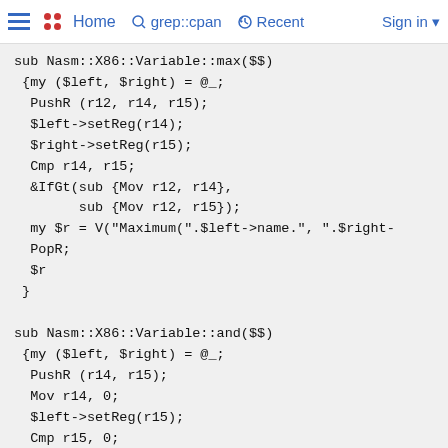Home  grep::cpan  Recent  Sign in
sub Nasm::X86::Variable::max($$)
 {my ($left, $right) = @_;
  PushR (r12, r14, r15);
  $left->setReg(r14);
  $right->setReg(r15);
  Cmp r14, r15;
  &IfGt(sub {Mov r12, r14},
        sub {Mov r12, r15});
  my $r = V("Maximum(".$left->name.", ".$right-
  PopR;
  $r
 }

sub Nasm::X86::Variable::and($$)
 {my ($left, $right) = @_;
  PushR (r14, r15);
  Mov r14, 0;
  $left->setReg(r15);
  Cmp r15, 0;
  &IfNe (
    sub